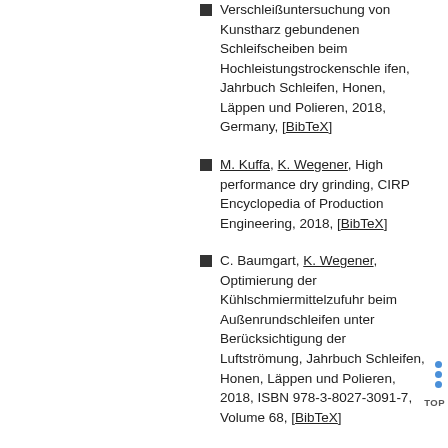Verschleißuntersuchung von Kunstharz gebundenen Schleifscheiben beim Hochleistungstrockenschleifen, Jahrbuch Schleifen, Honen, Läppen und Polieren, 2018, Germany, [BibTeX]
M. Kuffa, K. Wegener, High performance dry grinding, CIRP Encyclopedia of Production Engineering, 2018, [BibTeX]
C. Baumgart, K. Wegener, Optimierung der Kühlschmiermittelzufuhr beim Außenrundschleifen unter Berücksichtigung der Luftströmung, Jahrbuch Schleifen, Honen, Läppen und Polieren, 2018, ISBN 978-3-8027-3091-7, Volume 68, [BibTeX]
K. Wegener, C. Baumgart, Grinding Burn, CIRP